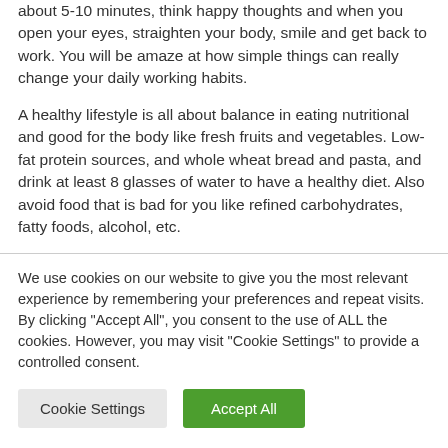about 5-10 minutes, think happy thoughts and when you open your eyes, straighten your body, smile and get back to work. You will be amaze at how simple things can really change your daily working habits.
A healthy lifestyle is all about balance in eating nutritional and good for the body like fresh fruits and vegetables. Low-fat protein sources, and whole wheat bread and pasta, and drink at least 8 glasses of water to have a healthy diet. Also avoid food that is bad for you like refined carbohydrates, fatty foods, alcohol, etc.
We use cookies on our website to give you the most relevant experience by remembering your preferences and repeat visits. By clicking "Accept All", you consent to the use of ALL the cookies. However, you may visit "Cookie Settings" to provide a controlled consent.